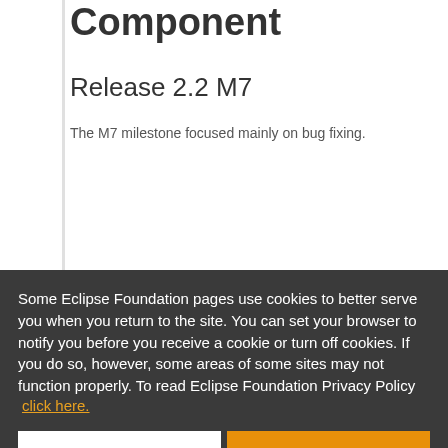Component
Release 2.2 M7
The M7 milestone focused mainly on bug fixing.
Some Eclipse Foundation pages use cookies to better serve you when you return to the site. You can set your browser to notify you before you receive a cookie or turn off cookies. If you do so, however, some areas of some sites may not function properly. To read Eclipse Foundation Privacy Policy click here.
Another nagging issue that was addressed was the